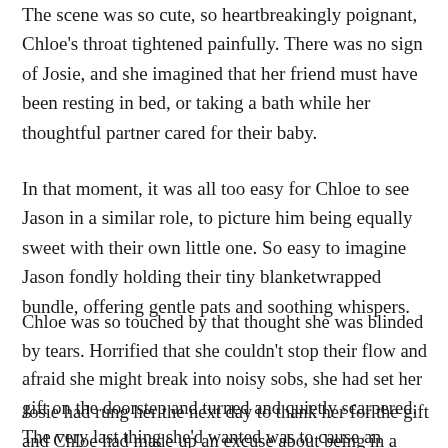The scene was so cute, so heartbreakingly poignant, Chloe's throat tightened painfully. There was no sign of Josie, and she imagined that her friend must have been resting in bed, or taking a bath while her thoughtful partner cared for their baby.
In that moment, it was all too easy for Chloe to see Jason in a similar role, to picture him being equally sweet with their own little one. So easy to imagine Jason fondly holding their tiny blanketwrapped bundle, offering gentle pats and soothing whispers.
Chloe was so touched by that thought she was blinded by tears. Horrified that she couldn't stop their flow and afraid she might break into noisy sobs, she had set her gift on the doorstep and turned and quietly scarpered. The very last thing she'd wanted was to cause an embarrassing scene.
Josie had rung her the next day to thank her for the gift and Chloe had made up an excuse about being in a dreadful hurry